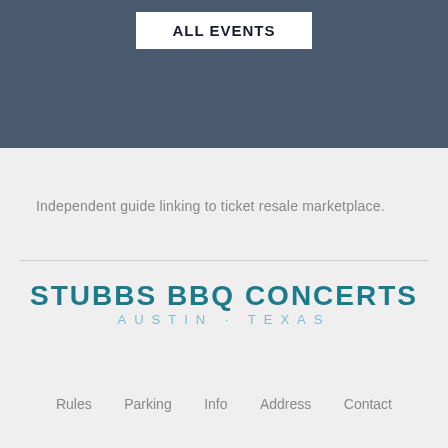ALL EVENTS
Independent guide linking to ticket resale marketplace.
[Figure (logo): Stubbs BBQ Concerts Austin Texas logo in teal/dark cyan bold uppercase text]
Rules
Parking
Info
Address
Contact